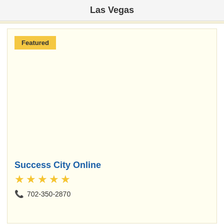Las Vegas
Featured
Success City Online
★★★★★
702-350-2870